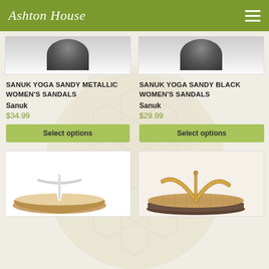Ashton House
SANUK YOGA SANDY METALLIC WOMEN'S SANDALS
Sanuk
$34.99
Select options
SANUK YOGA SANDY BLACK WOMEN'S SANDALS
Sanuk
$29.99
Select options
[Figure (photo): Partial top view of a dark-colored sandal shoe on white background]
[Figure (photo): Partial top view of a dark-colored sandal shoe on white background]
[Figure (photo): White/silver flip-flop sandal with thin metallic strap, viewed from the side]
[Figure (photo): Tan/gold woven-strap flip-flop sandal on light background]